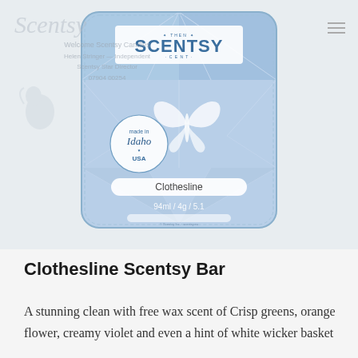[Figure (photo): Product photo of a Scentsy 'Clothesline' wax bar in light blue geometric diamond-pattern packaging. The bar label reads 'SCENTSY', 'made in Idaho USA', 'Clothesline', '94ml / 4g / 5.1'. A watermark of the Scentsy logo and consultant information is visible in the background. A hamburger menu icon appears in the top right corner.]
Clothesline Scentsy Bar
A stunning clean with free wax scent of Crisp greens, orange flower, creamy violet and even a hint of white wicker basket